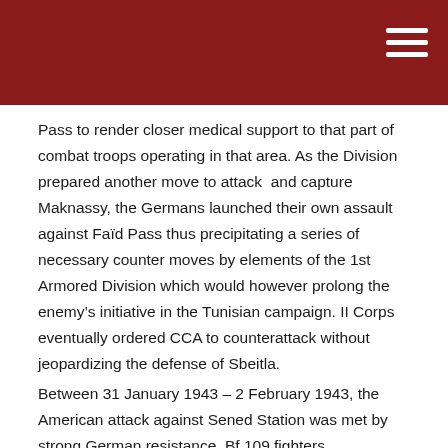Pass to render closer medical support to that part of combat troops operating in that area. As the Division prepared another move to attack  and capture Maknassy, the Germans launched their own assault against Faïd Pass thus precipitating a series of necessary counter moves by elements of the 1st Armored Division which would however prolong the enemy's initiative in the Tunisian campaign. II Corps eventually ordered CCA to counterattack without jeopardizing the defense of Sbeitla.
Between 31 January 1943 – 2 February 1943, the American attack against Sened Station was met by strong German resistance. Bf 109 fighters (Messerschmitt) and Ju 87 (Junkers) fighter-bombers hit the tanks and infantry causing heavy casualties and disorganizing the attackers who called off the assault. Notwithstanding enemy bombing, artillery and antitank fire, and difficulties with communication, Sened Station was captured and occupied, with the Germans pulling